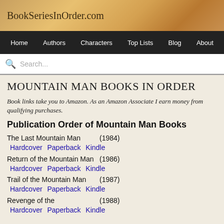BookSeriesInOrder.com
Home  Authors  Characters  Top Lists  Blog  About
MOUNTAIN MAN BOOKS IN ORDER
Book links take you to Amazon. As an Amazon Associate I earn money from qualifying purchases.
Publication Order of Mountain Man Books
The Last Mountain Man (1984) Hardcover Paperback Kindle
Return of the Mountain Man (1986) Hardcover Paperback Kindle
Trail of the Mountain Man (1987) Hardcover Paperback Kindle
Revenge of the (1988) Hardcover Paperback Kindle